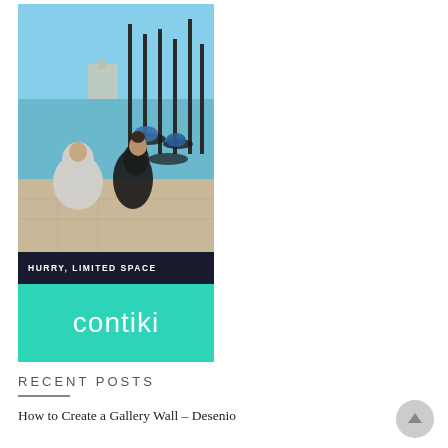[Figure (photo): Contiki travel advertisement showing a couple sitting by the waterfront in Venice with gondolas in the background. The ad has a 'BOOK NOW' button at top in teal border, a dark bar reading 'HURRY, LIMITED SPACE', and a teal bar with the Contiki logo at the bottom.]
RECENT POSTS
How to Create a Gallery Wall – Desenio